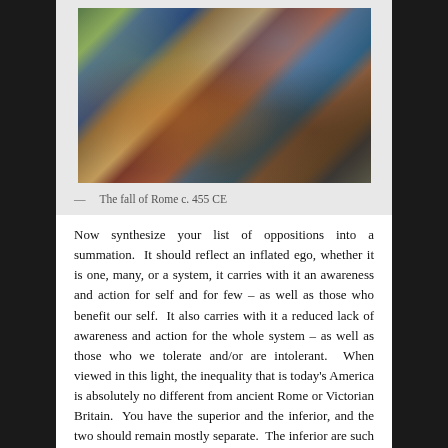[Figure (illustration): Historical painting depicting the fall of Rome c. 455 CE, showing a chaotic battle/siege scene with water, architecture, and many figures]
— The fall of Rome c. 455 CE
Now synthesize your list of oppositions into a summation. It should reflect an inflated ego, whether it is one, many, or a system, it carries with it an awareness and action for self and for few – as well as those who benefit our self. It also carries with it a reduced lack of awareness and action for the whole system – as well as those who we tolerate and/or are intolerant. When viewed in this light, the inequality that is today's America is absolutely no different from ancient Rome or Victorian Britain. You have the superior and the inferior, and the two should remain mostly separate. The inferior are such because they are illiterate. They